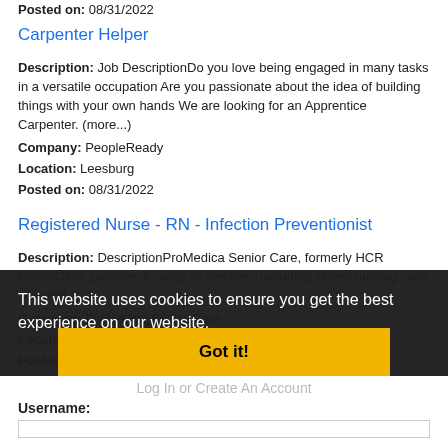Posted on: 08/31/2022
Carpenter Helper
Description: Job DescriptionDo you love being engaged in many tasks in a versatile occupation Are you passionate about the idea of building things with your own hands We are looking for an Apprentice Carpenter. (more...)
Company: PeopleReady
Location: Leesburg
Posted on: 08/31/2022
Registered Nurse - RN - Infection Preventionist
Description: DescriptionProMedica Senior Care, formerly HCR ManorCare, provides a range of services, including skilled nursing care, assisted...
Company: ProMedica Senior Care...
Location: ...
Posted on: 08/31/2022
Loading more jobs...
This website uses cookies to ensure you get the best experience on our website.
Learn more
Got it!
Log In or Create An Account
Username: